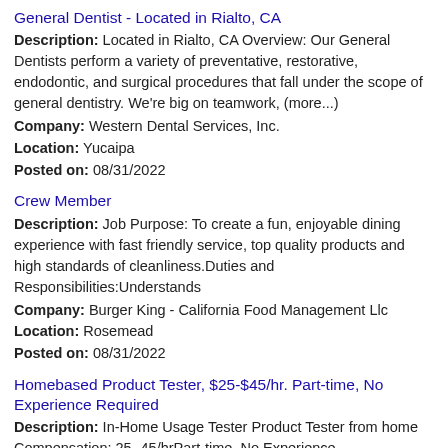General Dentist - Located in Rialto, CA
Description: Located in Rialto, CA Overview: Our General Dentists perform a variety of preventative, restorative, endodontic, and surgical procedures that fall under the scope of general dentistry. We're big on teamwork, (more...)
Company: Western Dental Services, Inc.
Location: Yucaipa
Posted on: 08/31/2022
Crew Member
Description: Job Purpose: To create a fun, enjoyable dining experience with fast friendly service, top quality products and high standards of cleanliness.Duties and Responsibilities:Understands
Company: Burger King - California Food Management Llc
Location: Rosemead
Posted on: 08/31/2022
Homebased Product Tester, $25-$45/hr. Part-time, No Experience Required
Description: In-Home Usage Tester Product Tester from home Compensation: 25- 45/hrPart-time, No Experience RequiredWe're recruiting Product Testers to work from home nationwide in the US to fulfill upcoming contracts (more...)
Company: American Consumer Panels